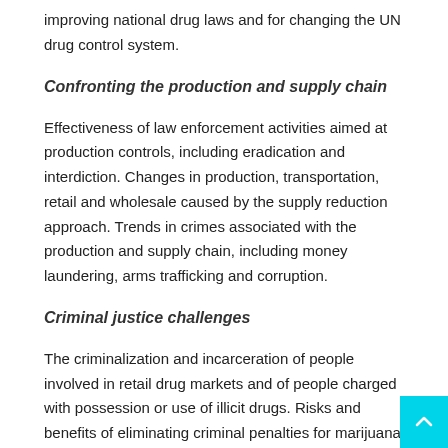improving national drug laws and for changing the UN drug control system.
Confronting the production and supply chain
Effectiveness of law enforcement activities aimed at production controls, including eradication and interdiction. Changes in production, transportation, retail and wholesale caused by the supply reduction approach. Trends in crimes associated with the production and supply chain, including money laundering, arms trafficking and corruption.
Criminal justice challenges
The criminalization and incarceration of people involved in retail drug markets and of people charged with possession or use of illicit drugs. Risks and benefits of eliminating criminal penalties for marijuana possession for personal use and other forms of sentencing reform. Risks and benefits of distinguishing trafficking from small-scale dealing and of other drug law enforcement strategies.